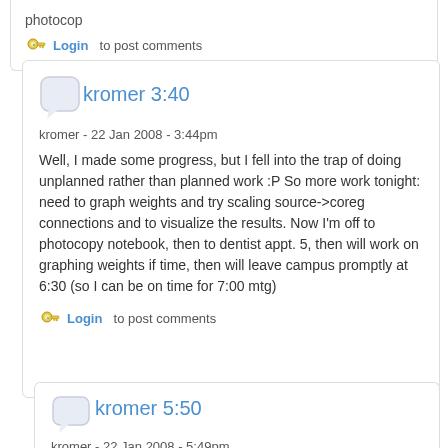photocop
Login  to post comments
kromer 3:40
kromer - 22 Jan 2008 - 3:44pm
Well, I made some progress, but I fell into the trap of doing unplanned rather than planned work :P So more work tonight: need to graph weights and try scaling source->coreg connections and to visualize the results. Now I'm off to photocopy notebook, then to dentist appt. 5, then will work on graphing weights if time, then will leave campus promptly at 6:30 (so I can be on time for 7:00 mtg)
Login  to post comments
kromer 5:50
kromer - 22 Jan 2008 - 5:49pm
Back from dentist appt. I got half of notebook photocopied. I'm going to try to get the weights graphed and posted on lab wiki, then will leave for Harambee leaders mtg.